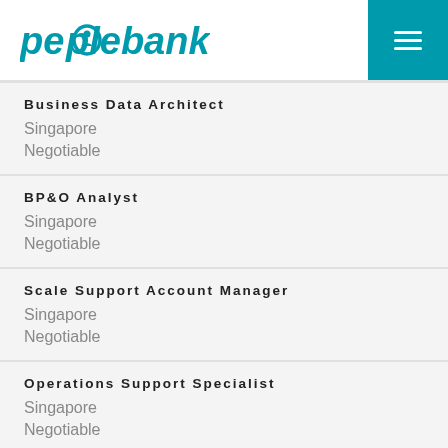peoplebank
Business Data Architect
Singapore
Negotiable
BP&O Analyst
Singapore
Negotiable
Scale Support Account Manager
Singapore
Negotiable
Operations Support Specialist
Singapore
Negotiable